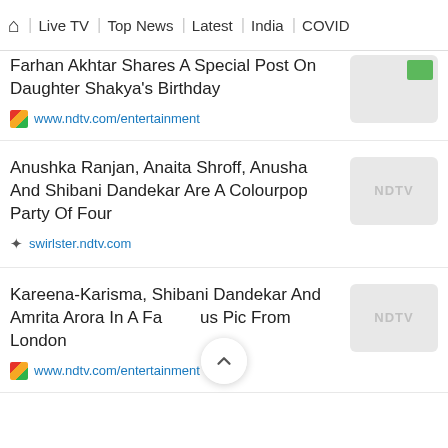🏠 | Live TV | Top News | Latest | India | COVID
Farhan Akhtar Shares A Special Post On Daughter Shakya's Birthday
www.ndtv.com/entertainment
Anushka Ranjan, Anaita Shroff, Anusha And Shibani Dandekar Are A Colourpop Party Of Four
swirlster.ndtv.com
Kareena-Karisma, Shibani Dandekar And Amrita Arora In A Famous Pic From London
www.ndtv.com/entertainment